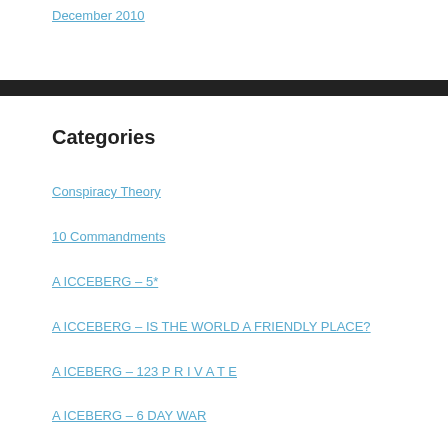December 2010
Categories
Conspiracy Theory
10 Commandments
A ICCEBERG – 5*
A ICCEBERG – IS THE WORLD A FRIENDLY PLACE?
A ICEBERG – 123 P R I V A T E
A ICEBERG – 6 DAY WAR
A ICEBERG – ABRAHAM